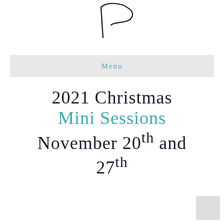[Figure (logo): Handwritten cursive signature/logo mark in black ink, partial view showing stylized lettering]
Menu
2021 Christmas Mini Sessions November 20th and 27th